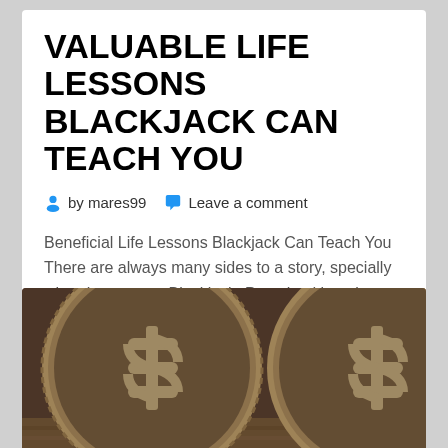VALUABLE LIFE LESSONS BLACKJACK CAN TEACH YOU
by mares99   Leave a comment
Beneficial Life Lessons Blackjack Can Teach You There are always many sides to a story, specially when it comes to Blackjack. Perceived by a lot…
Read More
[Figure (photo): Close-up photo of large bronze/metal coins with dollar sign symbols, showing textured metallic surface]